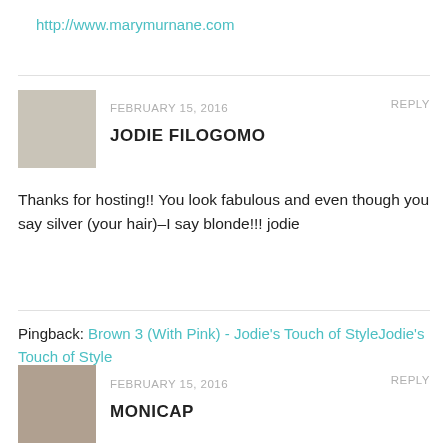http://www.marymurnane.com
FEBRUARY 15, 2016   REPLY
JODIE FILOGOMO
Thanks for hosting!! You look fabulous and even though you say silver (your hair)–I say blonde!!! jodie
http://www.jtouchofstyle.com
Pingback: Brown 3 (With Pink) - Jodie's Touch of StyleJodie's Touch of Style
FEBRUARY 15, 2016   REPLY
MONICAP